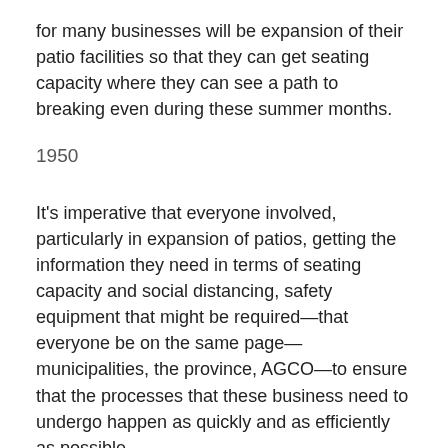for many businesses will be expansion of their patio facilities so that they can get seating capacity where they can see a path to breaking even during these summer months.
1950
It's imperative that everyone involved, particularly in expansion of patios, getting the information they need in terms of seating capacity and social distancing, safety equipment that might be required—that everyone be on the same page—municipalities, the province, AGCO—to ensure that the processes that these business need to undergo happen as quickly and as efficiently as possible.
One example: We had a restaurateur, who was making some assessments about how he would have to respace his facility, both inside and out, and was about to make a $30,000 investment in glass partitions, only to discover when he was having a conversation with his inspector from the province that—